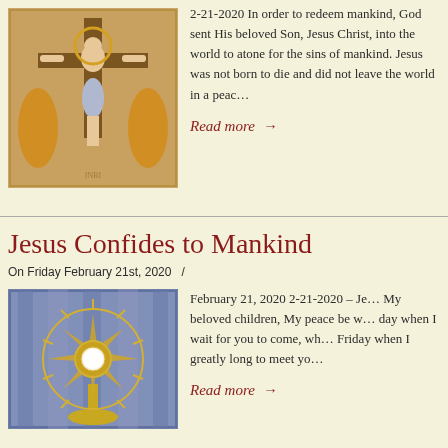[Figure (photo): Crucifix painting showing Jesus Christ on the cross with golden decorative background]
2-21-2020 In order to redeem mankind, God sent His beloved Son, Jesus Christ, into the world to atone for the sins of mankind. Jesus was not born to die and did not leave the world in a peac
Read more →
Jesus Confides to Mankind
On Friday February 21st, 2020   /
[Figure (photo): A golden monstrance with the Blessed Sacrament displayed against a blue draped background]
February 21, 2020 2-21-2020 – Je... My beloved children, My peace be w... day when I wait for you to come, wh... Friday when I greatly long to meet yo...
Read more →